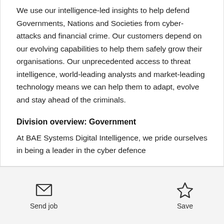We use our intelligence-led insights to help defend Governments, Nations and Societies from cyber-attacks and financial crime. Our customers depend on our evolving capabilities to help them safely grow their organisations. Our unprecedented access to threat intelligence, world-leading analysts and market-leading technology means we can help them to adapt, evolve and stay ahead of the criminals.
Division overview: Government
At BAE Systems Digital Intelligence, we pride ourselves in being a leader in the cyber defence
Send job | Save